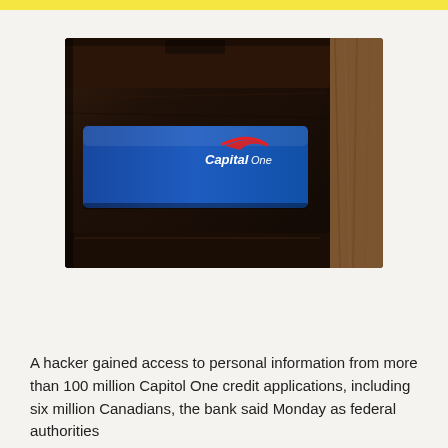[Figure (photo): Close-up photo of a worn dark brown leather wallet with a Capital One credit card visible, placed on a wooden surface. The blue Capital One card with the swoosh logo is partially showing from the wallet.]
A hacker gained access to personal information from more than 100 million Capitol One credit applications, including six million Canadians, the bank said Monday as federal authorities